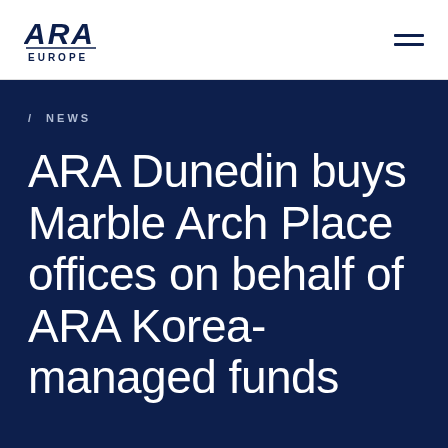ARA EUROPE
/ NEWS
ARA Dunedin buys Marble Arch Place offices on behalf of ARA Korea-managed funds